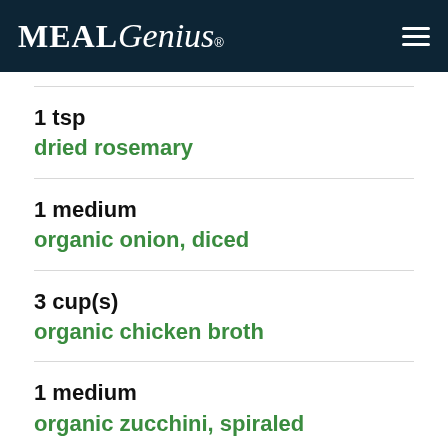MealGenius
1 tsp
dried rosemary
1 medium
organic onion, diced
3 cup(s)
organic chicken broth
1 medium
organic zucchini, spiraled
1 cup